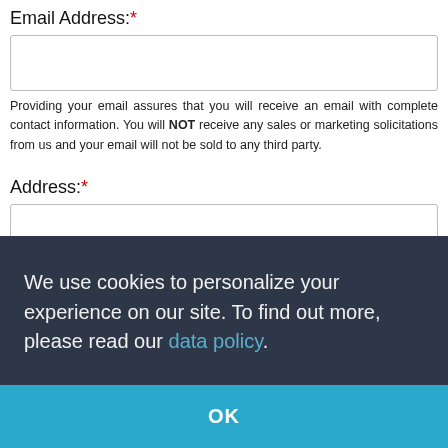Email Address:*
Providing your email assures that you will receive an email with complete contact information. You will NOT receive any sales or marketing solicitations from us and your email will not be sold to any third party.
Address:*
City:*
We use cookies to personalize your experience on our site. To find out more, please read our data policy.
OK